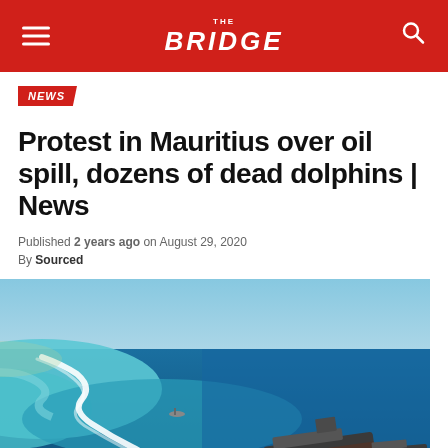THE BRIDGE
NEWS
Protest in Mauritius over oil spill, dozens of dead dolphins | News
Published 2 years ago on August 29, 2020
By Sourced
[Figure (photo): Aerial photograph of the Mauritius coast showing a stranded cargo ship near a coral reef, with turquoise and deep blue ocean waters, white wave breaks along the reef edge, and the ship visible in the lower right of the image.]